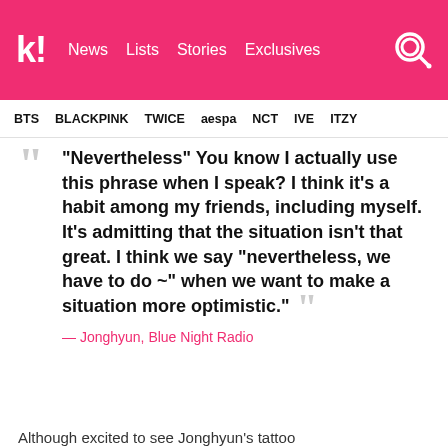k! News | Lists | Stories | Exclusives
BTS | BLACKPINK | TWICE | aespa | NCT | IVE | ITZY
"Nevertheless" You know I actually use this phrase when I speak? I think it's a habit among my friends, including myself. It's admitting that the situation isn't that great. I think we say "nevertheless, we have to do ~" when we want to make a situation more optimistic."
— Jonghyun, Blue Night Radio
Although excited to see Jonghyun's tattoo